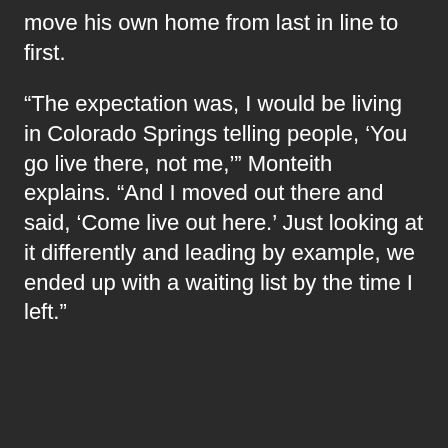move his own home from last in line to first.
“The expectation was, I would be living in Colorado Springs telling people, ‘You go live there, not me,’” Monteith explains. “And I moved out there and said, ‘Come live out here.’ Just looking at it differently and leading by example, we ended up with a waiting list by the time I left.”